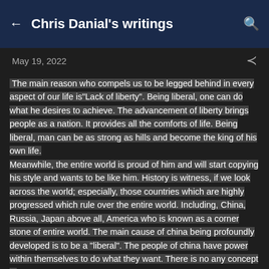Chris Danial's writings
May 19, 2022
The main reason who compels us to be legged behind in every aspect of our life is"Lack of liberty". Being liberal, one can do what he desires to achieve. The advancement of liberty brings people as a nation. It provides all the comforts of life. Being liberal, man can be as strong as hills and become the king of his own life. Meanwhile, the entire world is proud of him and will start copying his style and wants to be like him. History is witness, if we look across the world; especially, those countries which are highly progressed which rule over the entire world. Including, China, Russia, Japan above all, America who is known as a corner stone of entire world. The main cause of china being profoundly developed is to be a "liberal". The people of china have power within themselves to do what they want. There is no any concept of